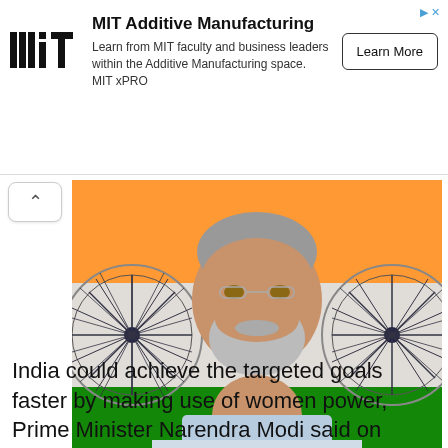[Figure (infographic): MIT Additive Manufacturing advertisement banner with MIT logo, description text, and Learn More button]
[Figure (photo): Indian Prime Minister Narendra Modi in a namaste pose (hands pressed together) wearing a light blue checkered sleeveless jacket, with Indian national flags in the background showing saffron, white, and green colors with Ashoka Chakra wheel.]
India could achieve the targeted goals faster by making use of women power, Prime Minister Narendra Modi said on Thursday even as he called for thoughts on what more could be done for the women and for...